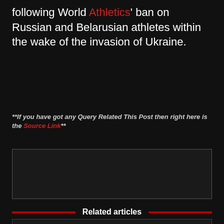following World Athletics' ban on Russian and Belarusian athletes within the wake of the invasion of Ukraine.
**If you have got any Query Related This Post then right here is the Source Link**
[Figure (other): Advertisement box with border]
Related articles
Jamie Oliver opens up about his spouse Jools's 'heartbreaking' mention of both the Covid...